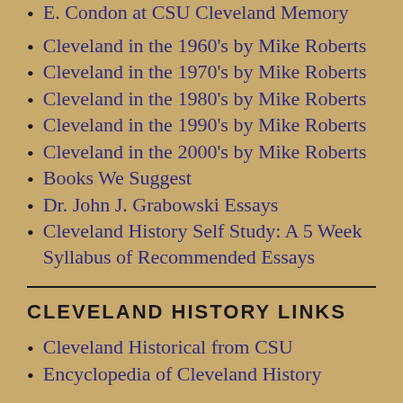E. Condon at CSU Cleveland Memory
Cleveland in the 1960's by Mike Roberts
Cleveland in the 1970's by Mike Roberts
Cleveland in the 1980's by Mike Roberts
Cleveland in the 1990's by Mike Roberts
Cleveland in the 2000's by Mike Roberts
Books We Suggest
Dr. John J. Grabowski Essays
Cleveland History Self Study: A 5 Week Syllabus of Recommended Essays
CLEVELAND HISTORY LINKS
Cleveland Historical from CSU
Encyclopedia of Cleveland History